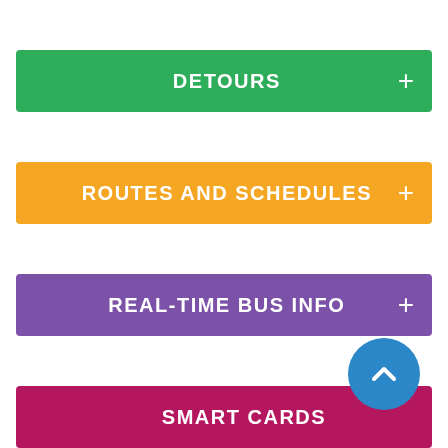DETOURS
ROUTES AND SCHEDULES
REAL-TIME BUS INFO
SMART CARDS